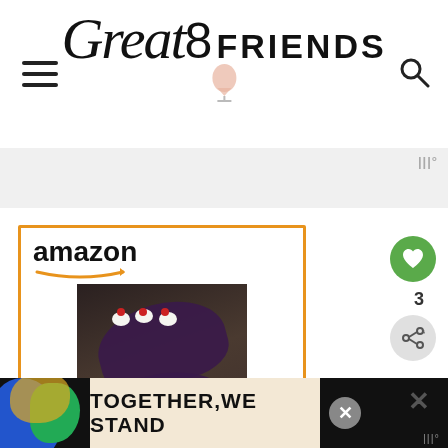Great8 FRIENDS
[Figure (screenshot): Amazon advertisement for 'Plenty: Vibrant Vegetable...' book priced at $17.89 with Prime badge and Shop now button]
Plenty: Vibrant Vegetable...
$17.89 Prime
[Figure (infographic): Heart/like button with count 3 and share button on right side]
3
TOGETHER,WE STAND